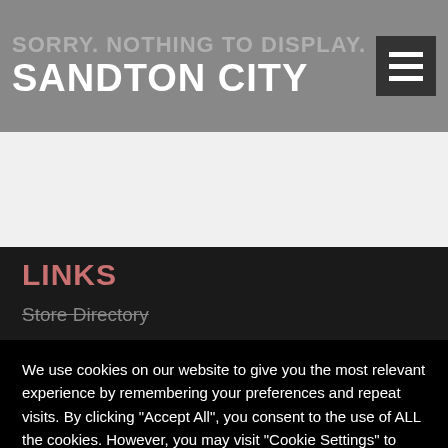SORRY. NOTHING TO DISPLAY.
SANDTON CITY
LINKS
Store Directory
We use cookies on our website to give you the most relevant experience by remembering your preferences and repeat visits. By clicking "Accept All", you consent to the use of ALL the cookies. However, you may visit "Cookie Settings" to provide a controlled consent. For further information please refer to our Privacy Policy
Cookie Settings
Accept All